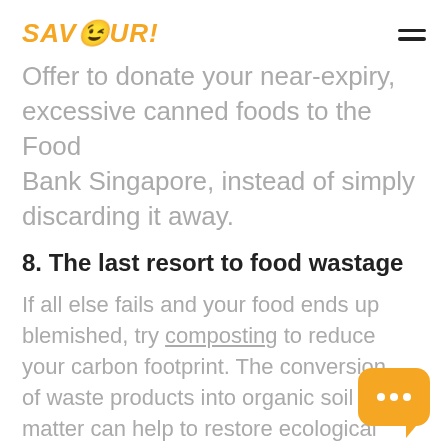SAVOUR!
Offer to donate your near-expiry, excessive canned foods to the Food Bank Singapore, instead of simply discarding it away.
8. The last resort to food wastage
If all else fails and your food ends up blemished, try composting to reduce your carbon footprint. The conversion of waste products into organic soil matter can help to restore ecological balance by using it to grow fruits and vegetables. Find out how locals did it here.